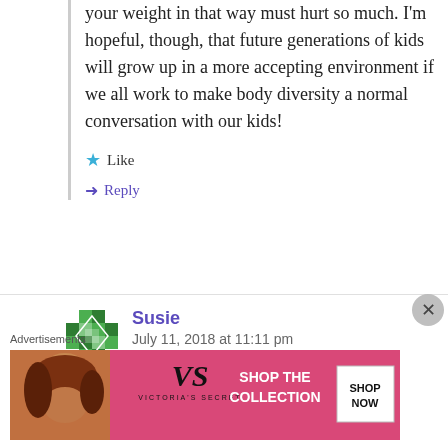your weight in that way must hurt so much. I'm hopeful, though, that future generations of kids will grow up in a more accepting environment if we all work to make body diversity a normal conversation with our kids!
Like
Reply
Susie
July 11, 2018 at 11:11 pm
[Figure (screenshot): Victoria's Secret advertisement banner with pink background showing 'SHOP THE COLLECTION' and 'SHOP NOW' button]
Advertisements